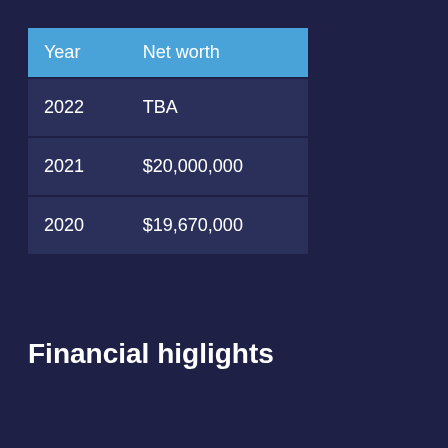| Year | Net worth |
| --- | --- |
| 2022 | TBA |
| 2021 | $20,000,000 |
| 2020 | $19,670,000 |
Financial higlights